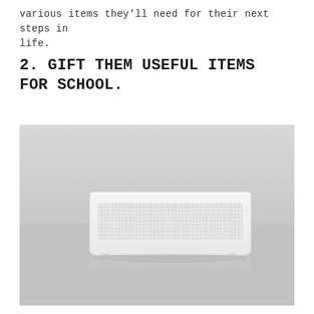various items they'll need for their next steps in life.
2. GIFT THEM USEFUL ITEMS FOR SCHOOL.
[Figure (photo): A white rectangular portable Bluetooth speaker with a perforated grille, sitting on a light grey surface against a light grey background, with a faint reflection visible beneath it.]